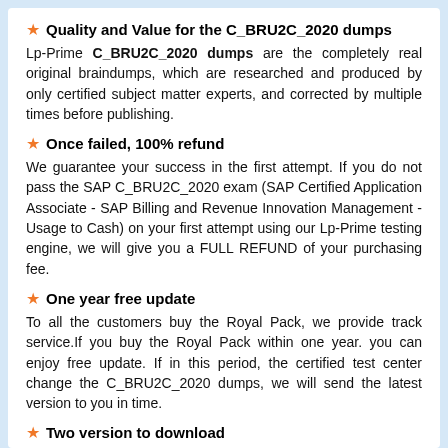Quality and Value for the C_BRU2C_2020 dumps
Lp-Prime C_BRU2C_2020 dumps are the completely real original braindumps, which are researched and produced by only certified subject matter experts, and corrected by multiple times before publishing.
Once failed, 100% refund
We guarantee your success in the first attempt. If you do not pass the SAP C_BRU2C_2020 exam (SAP Certified Application Associate - SAP Billing and Revenue Innovation Management - Usage to Cash) on your first attempt using our Lp-Prime testing engine, we will give you a FULL REFUND of your purchasing fee.
One year free update
To all the customers buy the Royal Pack, we provide track service.If you buy the Royal Pack within one year. you can enjoy free update. If in this period, the certified test center change the C_BRU2C_2020 dumps, we will send the latest version to you in time.
Two version to download
We provide package contains two version, one is C_BRU2C_2020 Questions & Answers (Printable Version), and the other is C_BRU2C_2020 Practice Test (Testing Engine). We are the only